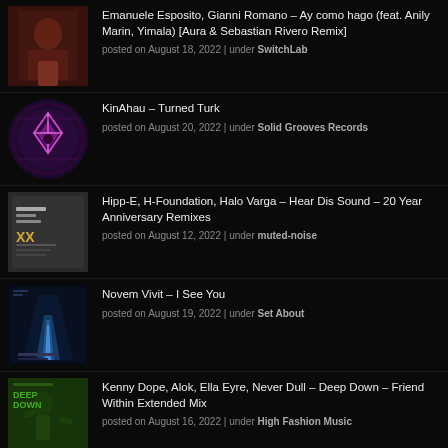Emanuele Esposito, Gianni Romano – Ay como hago (feat. Anily Marin, Yimala) [Aura & Sebastian Rivero Remix]
posted on August 18, 2022 | under SwitchLab
KinAhau – Turned Turk
posted on August 20, 2022 | under Solid Grooves Records
Hipp-E, H-Foundation, Halo Varga – Hear Dis Sound – 20 Year Anniversary Remixes
posted on August 12, 2022 | under muted-noise
Novem Vivit – I See You
posted on August 19, 2022 | under Set About
Kenny Dope, Alok, Ella Eyre, Never Dull – Deep Down – Friend Within Extended Mix
posted on August 16, 2022 | under High Fashion Music